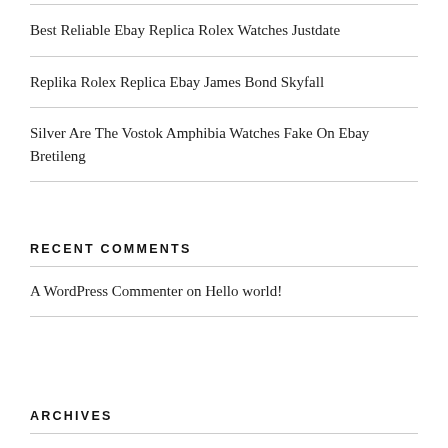Best Reliable Ebay Replica Rolex Watches Justdate
Replika Rolex Replica Ebay James Bond Skyfall
Silver Are The Vostok Amphibia Watches Fake On Ebay Bretileng
RECENT COMMENTS
A WordPress Commenter on Hello world!
ARCHIVES